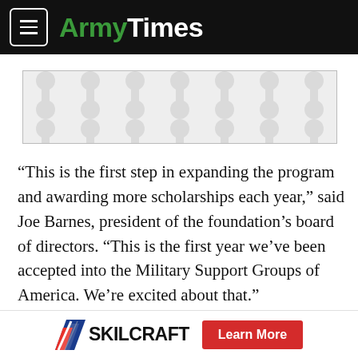ArmyTimes
[Figure (other): Advertisement placeholder with decorative dot/bone pattern on light grey background]
“This is the first step in expanding the program and awarding more scholarships each year,” said Joe Barnes, president of the foundation’s board of directors. “This is the first year we’ve been accepted into the Military Support Groups of America. We’re excited about that.”
Being part of the federation hopefully will expand the awareness about the foundation for both potential
SKILCRAFT Learn More